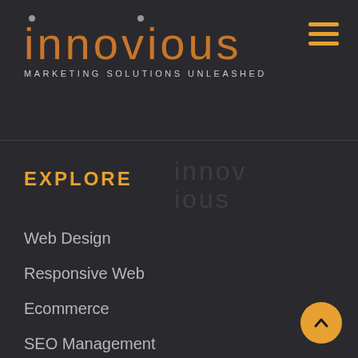[Figure (logo): Innovious logo with orange stylized text and tagline 'MARKETING SOLUTIONS UNLEASHED']
EXPLORE
Web Design
Responsive Web
Ecommerce
SEO Management
Local SEO
SEO